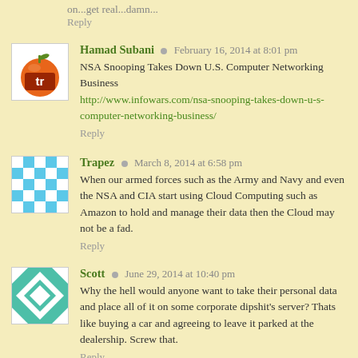on...get real...damn...
Reply
Hamad Subani · February 16, 2014 at 8:01 pm
NSA Snooping Takes Down U.S. Computer Networking Business http://www.infowars.com/nsa-snooping-takes-down-u-s-computer-networking-business/
Reply
Trapez · March 8, 2014 at 6:58 pm
When our armed forces such as the Army and Navy and even the NSA and CIA start using Cloud Computing such as Amazon to hold and manage their data then the Cloud may not be a fad.
Reply
Scott · June 29, 2014 at 10:40 pm
Why the hell would anyone want to take their personal data and place all of it on some corporate dipshit's server? Thats like buying a car and agreeing to leave it parked at the dealership. Screw that.
Reply